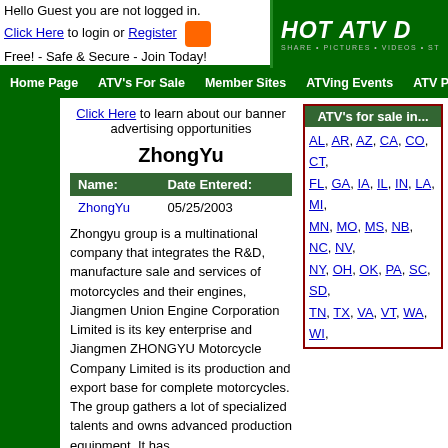Hello Guest you are not logged in. Click Here to login or Register Free! - Safe & Secure - Join Today!
HOT ATV D... SHARE • PICTURES • VIDEOS • ST...
Home Page | ATV's For Sale | Member Sites | ATVing Events | ATV Pict
Click Here to learn about our banner advertising opportunities
ZhongYu
| Name: | Date Entered: |
| --- | --- |
| ZhongYu | 05/25/2003 |
Zhongyu group is a multinational company that integrates the R&D, manufacture sale and services of motorcycles and their engines, Jiangmen Union Engine Corporation Limited is its key enterprise and Jiangmen ZHONGYU Motorcycle Company Limited is its production and export base for complete motorcycles. The group gathers a lot of specialized talents and owns advanced production equipment. It has
ATV's for sale in...
AL, AR, AZ, CA, CO, CT, FL, GA, IA, IL, IN, LA, MI, MN, MO, MS, NB, NC, NV, NY, OH, OK, PA, SC, SD, TN, TX, VA, VT, WA, WI,